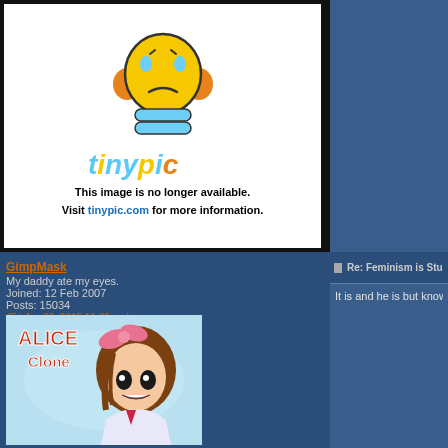[Figure (illustration): Tinypic placeholder showing a sad yellow emoji with orange ears and blue hands, with text 'This image is no longer available. Visit tinypic.com for more information.']
GimpMask
My daddy ate my eyes.
Joined: 12 Feb 2007
Posts: 15034
(Fri Jan 30, 2015 11:30 pm)
Reply
[Figure (illustration): ALICE Clone avatar image showing an anime-style girl character with brown hair and a pink bow]
Re: Feminism is Stu
It is and he is but know